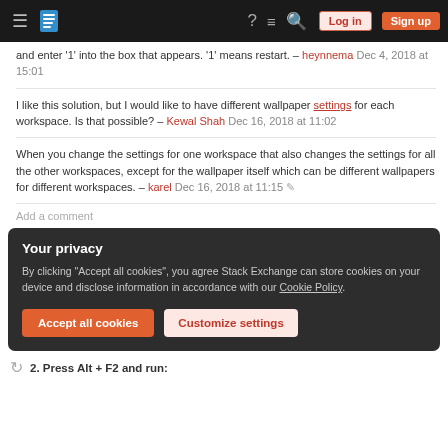Stack Exchange navigation bar with hamburger menu, logo, help, chat, search, Log in, Sign up
and enter '1' into the box that appears. '1' means restart. – heynnema Dec 4, 2018 at 15:01
I like this solution, but I would like to have different wallpaper settings for each workspace. Is that possible? – Kewal Shah Dec 16, 2018 at 11:02
When you change the settings for one workspace that also changes the settings for all the other workspaces, except for the wallpaper itself which can be different wallpapers for different workspaces. – karel Dec 16, 2018 at 11:15
Add a comment
Your privacy
By clicking "Accept all cookies", you agree Stack Exchange can store cookies on your device and disclose information in accordance with our Cookie Policy.
Accept all cookies
Customize settings
2. Press Alt + F2 and run: